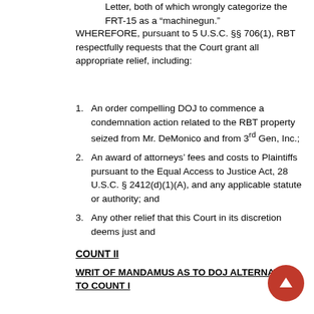Letter, both of which wrongly categorize the FRT-15 as a “machinegun.”
WHEREFORE, pursuant to 5 U.S.C. §§ 706(1), RBT respectfully requests that the Court grant all appropriate relief, including:
An order compelling DOJ to commence a condemnation action related to the RBT property seized from Mr. DeMonico and from 3rd Gen, Inc.;
An award of attorneys’ fees and costs to Plaintiffs pursuant to the Equal Access to Justice Act, 28 U.S.C. §2412(d)(1)(A), and any applicable statute or authority; and
Any other relief that this Court in its discretion deems just and
COUNT II
WRIT OF MANDAMUS AS TO DOJ ALTERNATIVE TO COUNT I